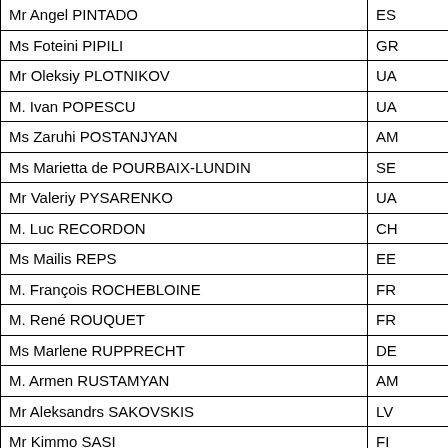| Name | Country |
| --- | --- |
| Mr Angel PINTADO | ES |
| Ms Foteini PIPILI | GR |
| Mr Oleksiy PLOTNIKOV | UA |
| M. Ivan POPESCU | UA |
| Ms Zaruhi POSTANJYAN | AM |
| Ms Marietta de POURBAIX-LUNDIN | SE |
| Mr Valeriy PYSARENKO | UA |
| M. Luc RECORDON | CH |
| Ms Mailis REPS | EE |
| M. François ROCHEBLOINE | FR |
| M. René ROUQUET | FR |
| Ms Marlene RUPPRECHT | DE |
| M. Armen RUSTAMYAN | AM |
| Mr Aleksandrs SAKOVSKIS | LV |
| Mr Kimmo SASI | FI |
| Mr Stefan SCHENNACH | AT |
| Ms Ingjerd SCHOU | NO |